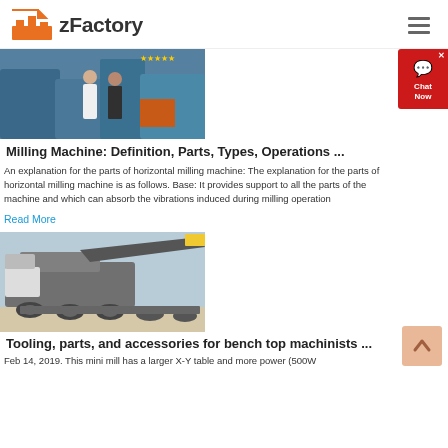zFactory
[Figure (photo): Two people standing in an industrial factory with large blue machinery and equipment]
Milling Machine: Definition, Parts, Types, Operations ...
An explanation for the parts of horizontal milling machine: The explanation for the parts of horizontal milling machine is as follows. Base: It provides support to all the parts of the machine and which can absorb the vibrations induced during milling operation
Read More
[Figure (photo): Large mobile crushing machine on a truck trailer outdoors]
Tooling, parts, and accessories for bench top machinists ...
Feb 14, 2019. This mini mill has a larger X-Y table and more power (500W